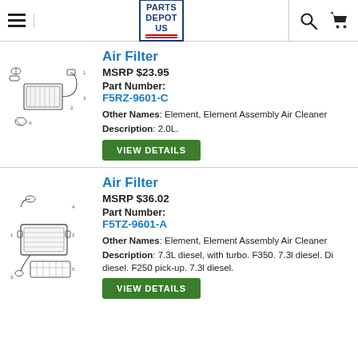Parts Depot US — navigation header with hamburger menu, logo, search, and cart icons
Air Filter
MSRP $23.95
Part Number: F5RZ-9601-C
Other Names: Element, Element Assembly Air Cleaner
Description: 2.0L.
Air Filter
MSRP $36.02
Part Number: F5TZ-9601-A
Other Names: Element, Element Assembly Air Cleaner
Description: 7.3L diesel, with turbo. F350. 7.3l diesel. Di diesel. F250 pick-up. 7.3l diesel.